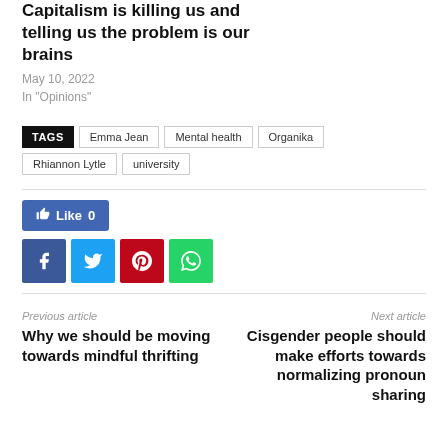Capitalism is killing us and telling us the problem is our brains
May 10, 2022
In "Opinions"
TAGS Emma Jean Mental health Organika Rhiannon Lytle university
[Figure (other): Social sharing buttons: Like 0 (Facebook like), Facebook share, Twitter share, Pinterest share, WhatsApp share]
Previous article
Why we should be moving towards mindful thrifting
Next article
Cisgender people should make efforts towards normalizing pronoun sharing